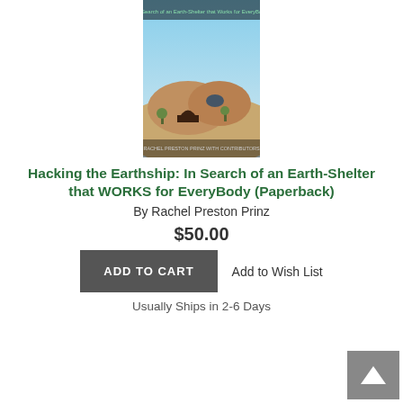[Figure (photo): Book cover of 'Hacking the Earthship' showing a desert earth-shelter building with organic curved walls]
Hacking the Earthship: In Search of an Earth-Shelter that WORKS for EveryBody (Paperback)
By Rachel Preston Prinz
$50.00
Add to Wish List
ADD TO CART
Usually Ships in 2-6 Days
[Figure (photo): Book cover of 'The Planet After Geoengineering' showing a dark space/planet scene in black and white]
The Planet After Geoengineering (Paperback)
By Design Earth, Rania Ghosn, El Hadi Jazairy